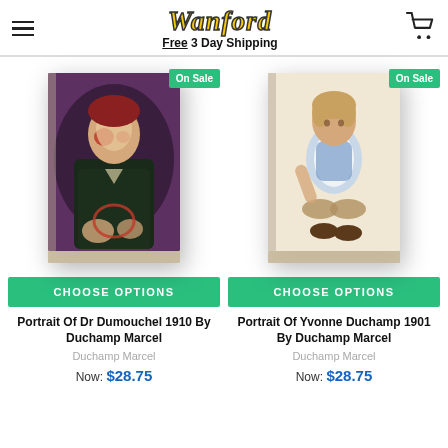Wanford — Free 3 Day Shipping
[Figure (photo): Canvas print of Portrait Of Dr Dumouchel 1910 by Duchamp Marcel — a dark-toned expressionist painting of a man in a black coat with clown-like red face paint, set against a purple/brown background, displayed on a wrapped canvas with a 3D edge.]
[Figure (photo): Canvas print of Portrait Of Yvonne Duchamp 1901 by Duchamp Marcel — a sepia-toned painting of a young child sitting on a surface wearing a blue and white outfit, displayed on a wrapped canvas.]
CHOOSE OPTIONS
CHOOSE OPTIONS
Portrait Of Dr Dumouchel 1910 By Duchamp Marcel
Portrait Of Yvonne Duchamp 1901 By Duchamp Marcel
Duchamp Marcel
Duchamp Marcel
Now: $28.75
Now: $28.75